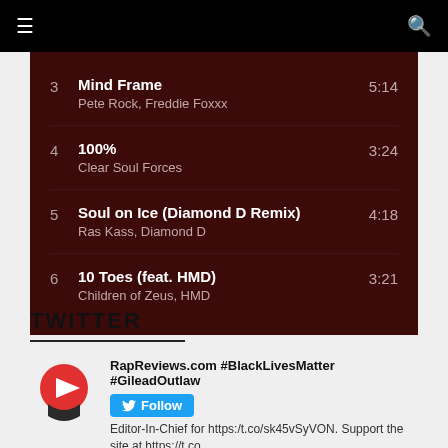Navigation bar with menu and search icons
3  Mind Frame  5:14  Pete Rock, Freddie Foxxx
4  100%  3:24  Clear Soul Forces
5  Soul on Ice (Diamond D Remix)  4:18  Ras Kass, Diamond D
6  10 Toes (feat. HMD)  3:21  Children of Zeus, HMD
TWITTER
RapReviews.com #BlackLivesMatter #GileadOutlaw  Follow  Editor-In-Chief for https:/t.co/sk45vSyVON. Support the site at https://t.co...